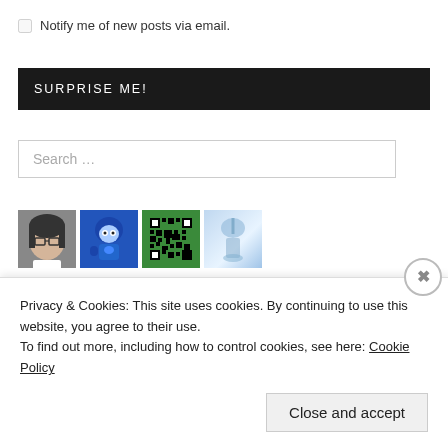Notify me of new posts via email.
[Figure (screenshot): SURPRISE ME! dark button]
[Figure (screenshot): Search input field with placeholder text 'Search ...']
[Figure (illustration): Row of four avatar/profile images]
RECENT POSTS
Break the Silence: The Movie (2020 Korean documentary) review
Privacy & Cookies: This site uses cookies. By continuing to use this website, you agree to their use.
To find out more, including how to control cookies, see here: Cookie Policy
Close and accept